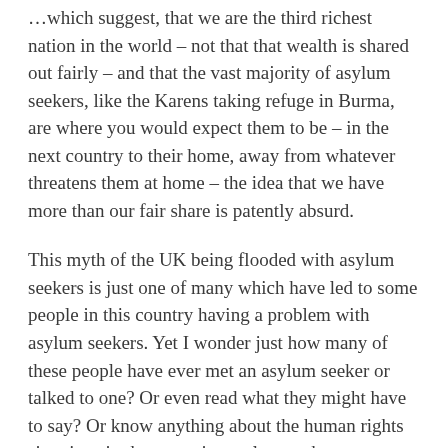…which suggest, that we are the third richest nation in the world – not that that wealth is shared out fairly – and that the vast majority of asylum seekers, like the Karens taking refuge in Burma,  are where you would expect them to be – in the next country to their home, away from whatever threatens them at home – the idea that we have more than our fair share is patently absurd.
This myth of the UK being flooded with asylum seekers is just one of many which have led to some people in this country having a problem with asylum seekers. Yet I wonder just how many of these people have ever met an asylum seeker or talked to one? Or even read what they might have to say? Or know anything about the human rights situations in the countries asylum seekers are coming from? Or considered the role Britain has played in the development of some of the worst